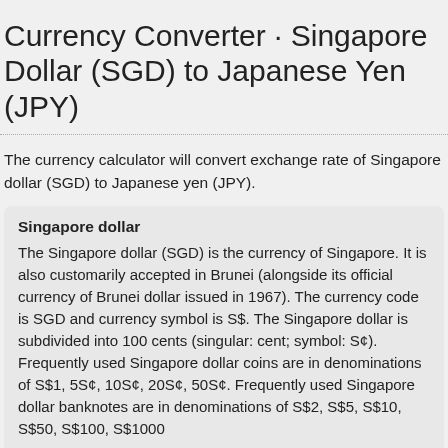Currency Converter · Singapore Dollar (SGD) to Japanese Yen (JPY)
The currency calculator will convert exchange rate of Singapore dollar (SGD) to Japanese yen (JPY).
Singapore dollar
The Singapore dollar (SGD) is the currency of Singapore. It is also customarily accepted in Brunei (alongside its official currency of Brunei dollar issued in 1967). The currency code is SGD and currency symbol is S$. The Singapore dollar is subdivided into 100 cents (singular: cent; symbol: S¢). Frequently used Singapore dollar coins are in denominations of S$1, 5S¢, 10S¢, 20S¢, 50S¢. Frequently used Singapore dollar banknotes are in denominations of S$2, S$5, S$10, S$50, S$100, S$1000
Japanese yen